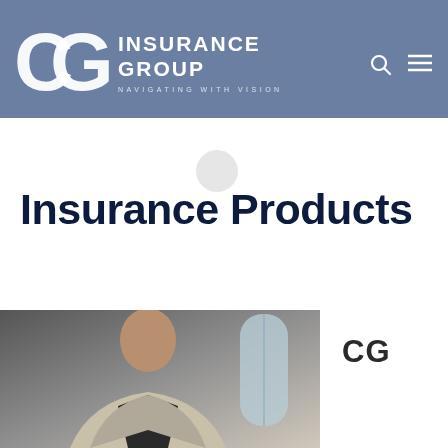CG Insurance Group — Navigating With Vision
Insurance Products
[Figure (photo): Person in business attire, partially visible, standing indoors near a window. CG text visible on right side.]